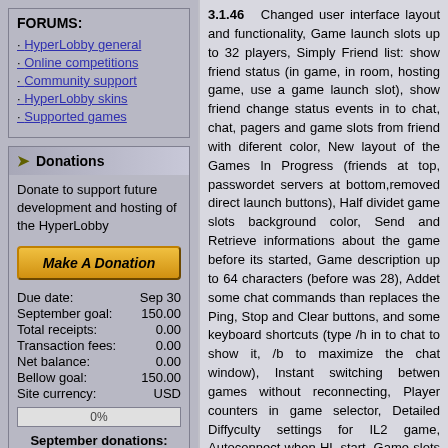FORUMS:
HyperLobby general
Online competitions
Community support
HyperLobby skins
Supported games
Donations
Donate to support future development and hosting of the HyperLobby
Make A Donation
| Label | Value |
| --- | --- |
| Due date: | Sep 30 |
| September goal: | 150.00 |
| Total receipts: | 0.00 |
| Transaction fees: | 0.00 |
| Net balance: | 0.00 |
| Bellow goal: | 150.00 |
| Site currency: | USD |
0%
September donations:
3.1.46   Changed user interface layout and functionality, Game launch slots up to 32 players, Simply Friend list: show friend status (in game, in room, hosting game, use a game launch slot), show friend change status events in to chat, chat, pagers and game slots from friend with diferent color, New layout of the Games In Progress (friends at top, passwordet servers at bottom,removed direct launch buttons), Half dividet game slots background color, Send and Retrieve informations about the game before its started, Game description up to 64 characters (before was 28), Addet some chat commands than replaces the Ping, Stop and Clear buttons, and some keyboard shortcuts (type /h in to chat to show it, /b to maximize the chat window), Instant switching betwen games without reconnecting, Player counters in game selector, Detailed Diffyculty settings for IL2 game, Autoconnect when HL start, Game slots is showed for all games, but game must be instaled when you want use a game slot, Improved searching in the game location dialog, Fixed some major Pager bugs regarding performance and missed messages, Fixed few server bugs, Some other minor bugfixes ...